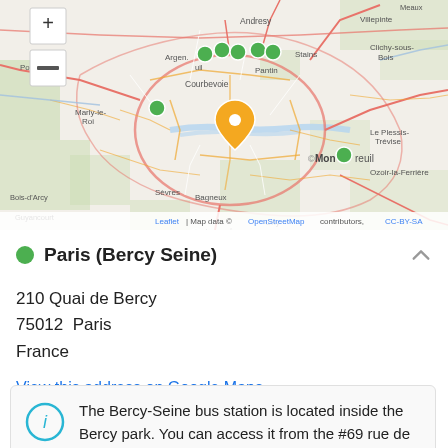[Figure (map): Interactive map centered on Paris, France showing street map with green location markers near Paris area and an orange/yellow pin marker at Paris center. Map shows surrounding areas including Poissy, Courbevoie, Pantin, Stains, Villepinte, Marly-le-Roi, Paris, Montreuil, Bois-d'Arcy, Guyancourt, Sèvres, Bagneux, Antony, Orly, Le Plessis-Trévise, Ozoir-la-Ferrière, Magny-les-Hameaux, Palaiseau, Île-de-France. Zoom controls (+/-) visible in top-left. Attribution: Leaflet | Map data © OpenStreetMap contributors, CC-BY-SA]
Leaflet | Map data © OpenStreetMap contributors, CC-BY-SA
Paris (Bercy Seine)
210 Quai de Bercy
75012  Paris
France
View this address on Google Maps
The Bercy-Seine bus station is located inside the Bercy park. You can access it from the #69 rue de Bercy and then walk straight